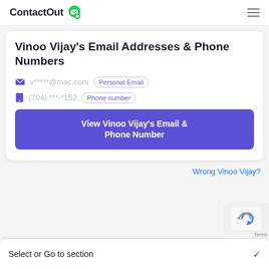ContactOut
Vinoo Vijay's Email Addresses & Phone Numbers
v*****@mac.com  Personal Email
(704) ***-*152  Phone number
View Vinoo Vijay's Email & Phone Number
Wrong Vinoo Vijay?
Select or Go to section